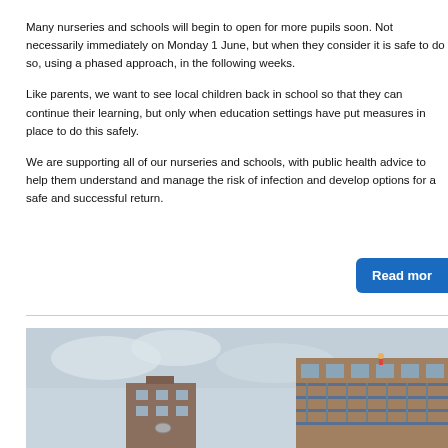Many nurseries and schools will begin to open for more pupils soon. Not necessarily immediately on Monday 1 June, but when they consider it is safe to do so, using a phased approach, in the following weeks.

Like parents, we want to see local children back in school so that they can continue their learning, but only when education settings have put measures in place to do this safely.

We are supporting all of our nurseries and schools, with public health advice to help them understand and manage the risk of infection and develop options for a safe and successful return.
[Figure (photo): Photograph of urban residential buildings, showing brick tower blocks and a multi-storey housing block with balconies against a cloudy sky.]